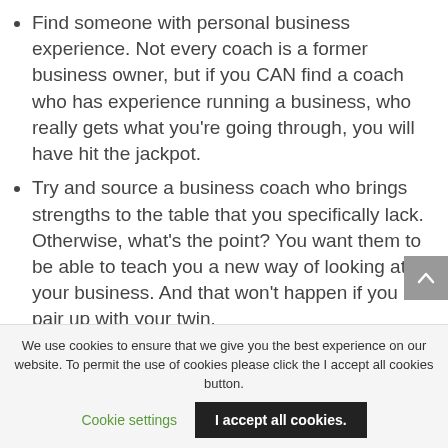Find someone with personal business experience. Not every coach is a former business owner, but if you CAN find a coach who has experience running a business, who really gets what you're going through, you will have hit the jackpot.
Try and source a business coach who brings strengths to the table that you specifically lack. Otherwise, what's the point? You want them to be able to teach you a new way of looking at your business. And that won't happen if you pair up with your twin.
Make sure the coach you choose provides
We use cookies to ensure that we give you the best experience on our website. To permit the use of cookies please click the I accept all cookies button.
Cookie settings | I accept all cookies.